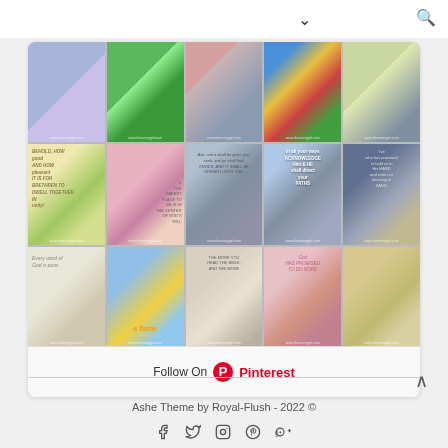[Figure (screenshot): Pinterest widget showing a grid of 15 inspirational/religious quote images in 5 columns and 3 rows, with a Follow On Pinterest button at the bottom]
Follow On Pinterest
Ashe Theme by Royal-Flush - 2022 ©
[Figure (other): Social media icons row: Facebook, Twitter, Instagram, Pinterest, Google+]